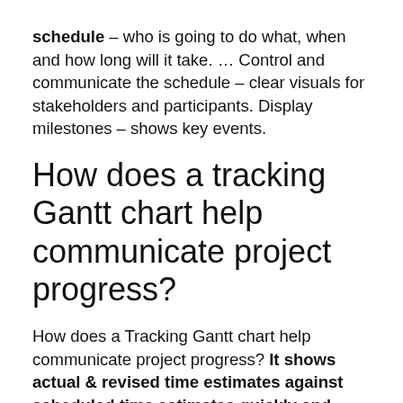schedule – who is going to do what, when and how long will it take. … Control and communicate the schedule – clear visuals for stakeholders and participants. Display milestones – shows key events.
How does a tracking Gantt chart help communicate project progress?
How does a Tracking Gantt chart help communicate project progress? It shows actual & revised time estimates against scheduled time estimates quickly and efficiently. … Schedule variance is still useful because it can assess the direction all project work is taking after 20% or more of